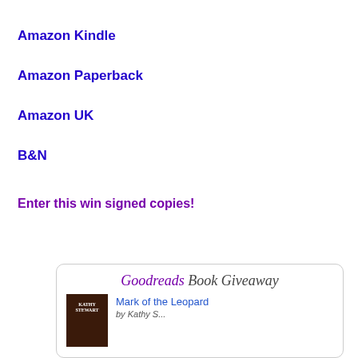Amazon Kindle
Amazon Paperback
Amazon UK
B&N
Enter this win signed copies!
[Figure (other): Goodreads Book Giveaway widget showing 'Mark of the Leopard' by Kathy Stewart with book cover thumbnail]